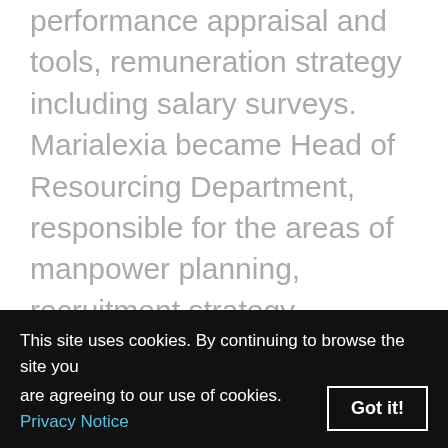performance appraisal and tools, remuneration strategy including salary surveys.  Marialexia became Head of Resourcing Department, responsible for the areas of manpower planning, recruitment strategy, organisational structure and training.  Marialexia entered the field of corporate brand management and lead the design of brand strategy and implementation of marketing communication plans for all retail products and services (fuels, lubricants, convenience retailing) with regional line responsibility for
This site uses cookies. By continuing to browse the site you are agreeing to our use of cookies. Privacy Notice  Got it!